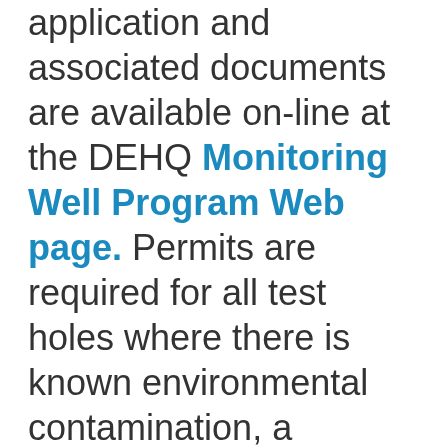application and associated documents are available on-line at the DEHQ Monitoring Well Program Web page. Permits are required for all test holes where there is known environmental contamination, a hazardous waste or material stored, or will be stored and meets any of the following criteria: